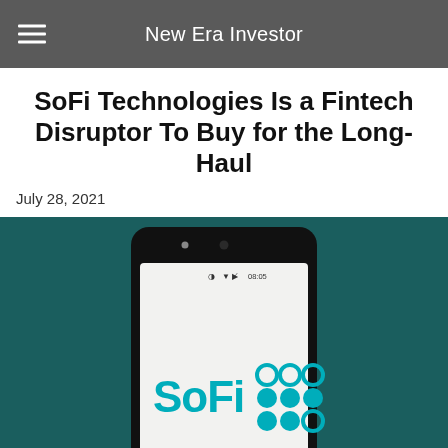New Era Investor
SoFi Technologies Is a Fintech Disruptor To Buy for the Long-Haul
July 28, 2021
[Figure (photo): A smartphone displaying the SoFi logo on a teal/dark green background. The phone screen shows the SoFi brand name in teal letters along with the SoFi dot-grid logo mark.]